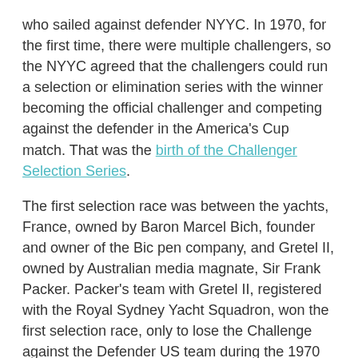who sailed against defender NYYC. In 1970, for the first time, there were multiple challengers, so the NYYC agreed that the challengers could run a selection or elimination series with the winner becoming the official challenger and competing against the defender in the America's Cup match. That was the birth of the Challenger Selection Series.
The first selection race was between the yachts, France, owned by Baron Marcel Bich, founder and owner of the Bic pen company, and Gretel II, owned by Australian media magnate, Sir Frank Packer. Packer's team with Gretel II, registered with the Royal Sydney Yacht Squadron, won the first selection race, only to lose the Challenge against the Defender US team during the 1970 America's Cup.  (You can find more about that event in the 7 Things I learned section below.)
From 1983 through the 35th America's Cup in British